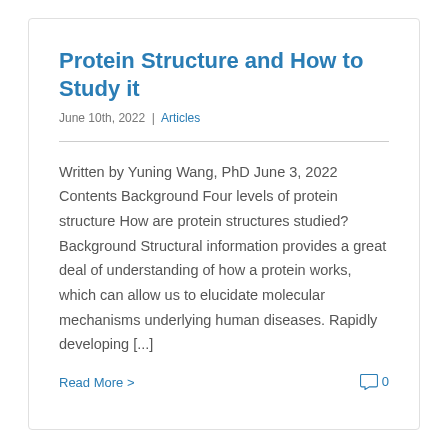Protein Structure and How to Study it
June 10th, 2022 | Articles
Written by Yuning Wang, PhD June 3, 2022 Contents Background Four levels of protein structure How are protein structures studied? Background Structural information provides a great deal of understanding of how a protein works, which can allow us to elucidate molecular mechanisms underlying human diseases. Rapidly developing [...]
Read More >                                 0